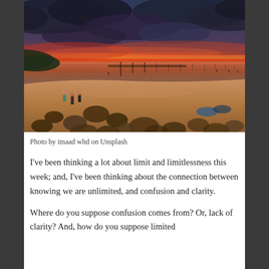[Figure (photo): Beach sunset scene with dramatic red and orange sky, dark storm clouds, people on a rocky and sandy beach, shallow tidal water extending into the distance with wooden posts visible]
Photo by imaad whd on Unsplash
I've been thinking a lot about limit and limitlessness this week; and, I've been thinking about the connection between knowing we are unlimited, and confusion and clarity.
Where do you suppose confusion comes from? Or, lack of clarity? And, how do you suppose limited